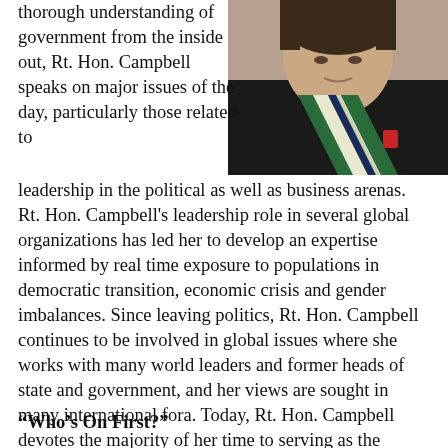[Figure (photo): Portrait photo of Rt. Hon. Campbell wearing a green, white, and black striped ceremonial sash/medal over a dark jacket, cropped at upper body]
thorough understanding of government from the inside out, Rt. Hon. Campbell speaks on major issues of the day, particularly those related to leadership in the political as well as business arenas. Rt. Hon. Campbell's leadership role in several global organizations has led her to develop an expertise informed by real time exposure to populations in democratic transition, economic crisis and gender imbalances. Since leaving politics, Rt. Hon. Campbell continues to be involved in global issues where she works with many world leaders and former heads of state and government, and her views are sought in many international fora. Today, Rt. Hon. Campbell devotes the majority of her time to serving as the Founding Principal of the new Peter Lougheed Leadership College at the University of Alberta.
“Who’s On First?”